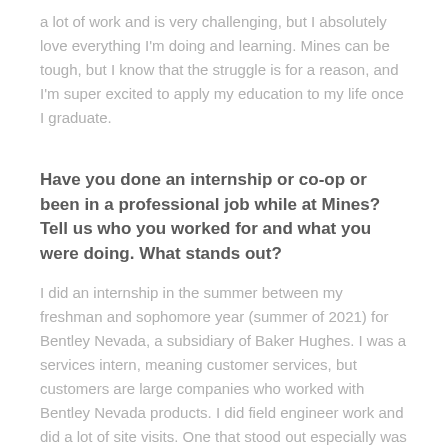a lot of work and is very challenging, but I absolutely love everything I'm doing and learning. Mines can be tough, but I know that the struggle is for a reason, and I'm super excited to apply my education to my life once I graduate.
Have you done an internship or co-op or been in a professional job while at Mines? Tell us who you worked for and what you were doing. What stands out?
I did an internship in the summer between my freshman and sophomore year (summer of 2021) for Bentley Nevada, a subsidiary of Baker Hughes. I was a services intern, meaning customer services, but customers are large companies who worked with Bentley Nevada products. I did field engineer work and did a lot of site visits. One that stood out especially was